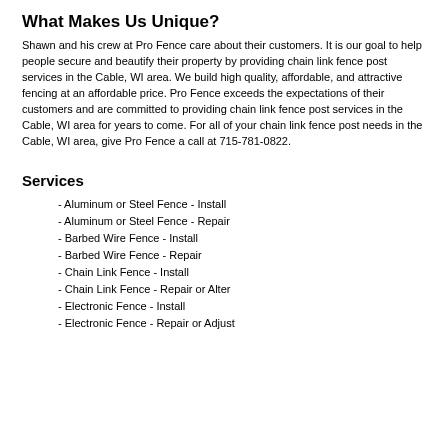What Makes Us Unique?
Shawn and his crew at Pro Fence care about their customers. It is our goal to help people secure and beautify their property by providing chain link fence post services in the Cable, WI area. We build high quality, affordable, and attractive fencing at an affordable price. Pro Fence exceeds the expectations of their customers and are committed to providing chain link fence post services in the Cable, WI area for years to come. For all of your chain link fence post needs in the Cable, WI area, give Pro Fence a call at 715-781-0822.
Services
- Aluminum or Steel Fence - Install
- Aluminum or Steel Fence - Repair
- Barbed Wire Fence - Install
- Barbed Wire Fence - Repair
- Chain Link Fence - Install
- Chain Link Fence - Repair or Alter
- Electronic Fence - Install
- Electronic Fence - Repair or Adjust